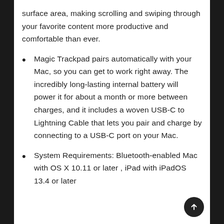surface area, making scrolling and swiping through your favorite content more productive and comfortable than ever.
Magic Trackpad pairs automatically with your Mac, so you can get to work right away. The incredibly long-lasting internal battery will power it for about a month or more between charges, and it includes a woven USB-C to Lightning Cable that lets you pair and charge by connecting to a USB-C port on your Mac.
System Requirements: Bluetooth-enabled Mac with OS X 10.11 or later , iPad with iPadOS 13.4 or later